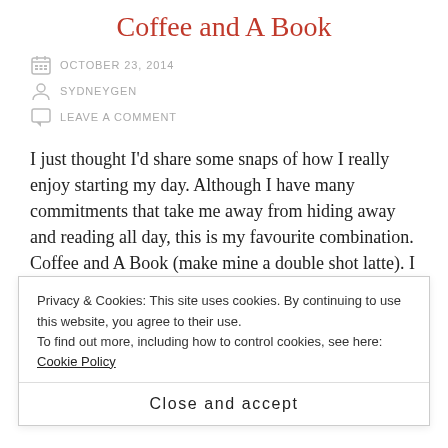Coffee and A Book
OCTOBER 23, 2014
SYDNEYGEN
LEAVE A COMMENT
I just thought I'd share some snaps of how I really enjoy starting my day. Although I have many commitments that take me away from hiding away and reading all day, this is my favourite combination. Coffee and A Book (make mine a double shot latte). I also read on various devices. Although I LOVE the feel of a paperback book, sometimes it's not practical to carry around. What's your
Privacy & Cookies: This site uses cookies. By continuing to use this website, you agree to their use.
To find out more, including how to control cookies, see here: Cookie Policy
Close and accept